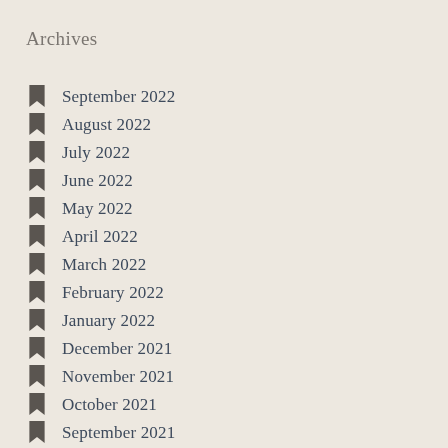Archives
September 2022
August 2022
July 2022
June 2022
May 2022
April 2022
March 2022
February 2022
January 2022
December 2021
November 2021
October 2021
September 2021
August 2021
July 2021